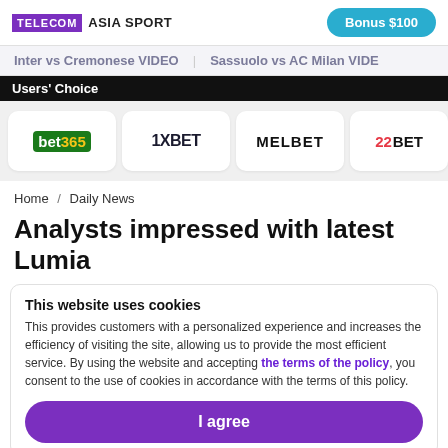TELECOM ASIA SPORT | Bonus $100
Inter vs Cremonese VIDEO   Sassuolo vs AC Milan VIDEO
Users' Choice
[Figure (logo): Bookmaker logos: bet365, 1XBET, MELBET, 22BET]
Home / Daily News
Analysts impressed with latest Lumia
This website uses cookies
This provides customers with a personalized experience and increases the efficiency of visiting the site, allowing us to provide the most efficient service. By using the website and accepting the terms of the policy, you consent to the use of cookies in accordance with the terms of this policy.
I agree